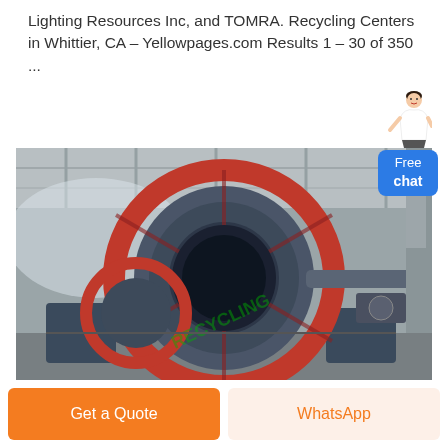Lighting Resources Inc, and TOMRA. Recycling Centers in Whittier, CA – Yellowpages.com Results 1 – 30 of 350 ...
[Figure (photo): Industrial large ball mill machine with red circular gear/ring and dark cylindrical drum, photographed in a large industrial warehouse facility. Green watermark visible on the machine.]
Get a Quote
WhatsApp